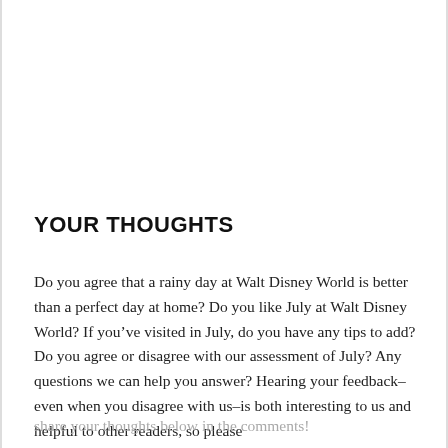YOUR THOUGHTS
Do you agree that a rainy day at Walt Disney World is better than a perfect day at home? Do you like July at Walt Disney World? If you’ve visited in July, do you have any tips to add? Do you agree or disagree with our assessment of July? Any questions we can help you answer? Hearing your feedback–even when you disagree with us–is both interesting to us and helpful to other readers, so please share your thoughts below in the comments!